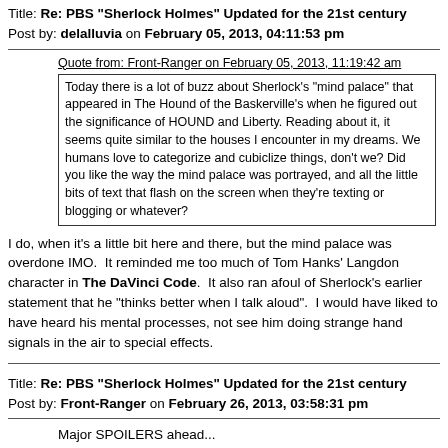Title: Re: PBS "Sherlock Holmes" Updated for the 21st century
Post by: delalluvia on February 05, 2013, 04:11:53 pm
Quote from: Front-Ranger on February 05, 2013, 11:19:42 am
Today there is a lot of buzz about Sherlock's "mind palace" that appeared in The Hound of the Baskerville's when he figured out the significance of HOUND and Liberty. Reading about it, it seems quite similar to the houses I encounter in my dreams. We humans love to categorize and cubiclize things, don't we? Did you like the way the mind palace was portrayed, and all the little bits of text that flash on the screen when they're texting or blogging or whatever?
I do, when it's a little bit here and there, but the mind palace was overdone IMO.  It reminded me too much of Tom Hanks' Langdon character in The DaVinci Code.  It also ran afoul of Sherlock's earlier statement that he "thinks better when I talk aloud".  I would have liked to have heard his mental processes, not see him doing strange hand signals in the air to special effects.
Title: Re: PBS "Sherlock Holmes" Updated for the 21st century
Post by: Front-Ranger on February 26, 2013, 03:58:31 pm
Major SPOILERS ahead...
Okay, I think I've figured out how Sherlock carried out the impossible leap. He had Molly locate a recently dead corpse who fit his general body type and then had her make a mask of his face and apply it to the corpse. He also had her haul the corpse up to the roof of the place where he had arranged the